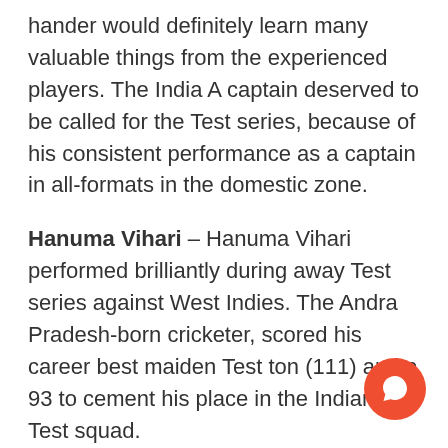hander would definitely learn many valuable things from the experienced players. The India A captain deserved to be called for the Test series, because of his consistent performance as a captain in all-formats in the domestic zone.
Hanuma Vihari – Hanuma Vihari performed brilliantly during away Test series against West Indies. The Andra Pradesh-born cricketer, scored his career best maiden Test ton (111) and a 93 to cement his place in the Indian Test squad.
However, during the series against South Africa, the Delhi Capitals players scored